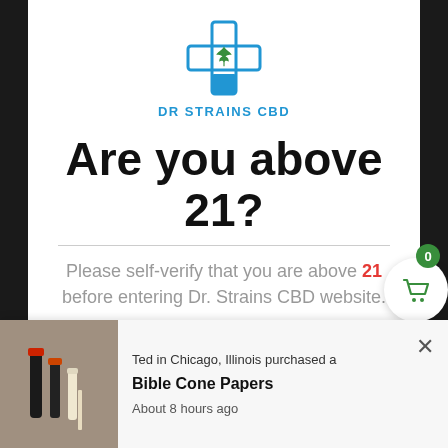[Figure (logo): Dr Strains CBD logo: a blue medical cross with a green cannabis leaf, brand name DR STRAINS CBD in blue below]
Are you above 21?
Please self-verify that you are above 21 before entering Dr. Strains CBD website.
YES
NO
Ted in Chicago, Illinois purchased a
Bible Cone Papers
About 8 hours ago